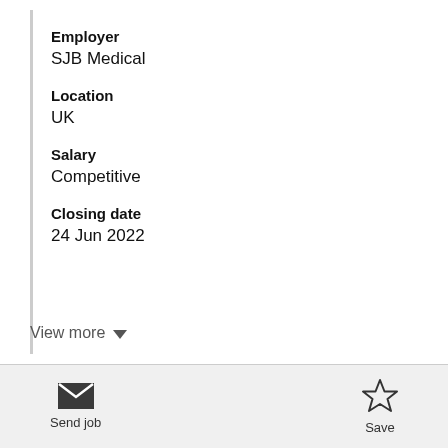Employer
SJB Medical
Location
UK
Salary
Competitive
Closing date
24 Jun 2022
View more
Send job
Save